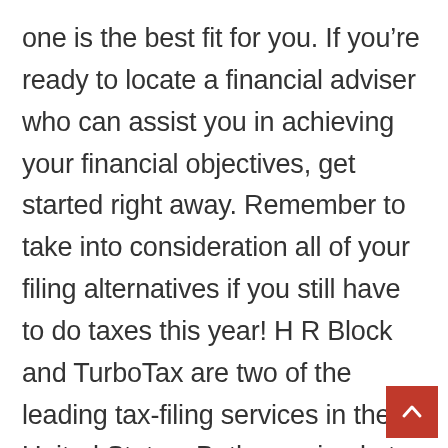one is the best fit for you. If you're ready to locate a financial adviser who can assist you in achieving your financial objectives, get started right away. Remember to take into consideration all of your filing alternatives if you still have to do taxes this year! H R Block and TurboTax are two of the leading tax-filing services in the United States. Both are simple to use and include step-by-step instructions to assist you in maximizing your return. For an in-depth comparison of TurboTax and H R Block, visit SmartAsset. When it comes to